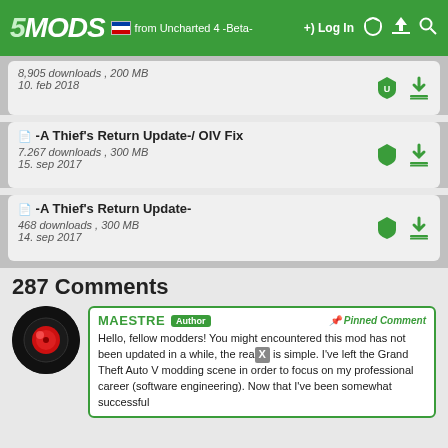5MODS — Drag from Uncharted 4 -Beta- Log In
8,905 downloads , 200 MB — 10. feb 2018
-A Thief's Return Update-/ OIV Fix — 7.267 downloads , 300 MB — 15. sep 2017
-A Thief's Return Update- — 468 downloads , 300 MB — 14. sep 2017
287 Comments
MAESTRE Author — Pinned Comment — Hello, fellow modders! You might encountered this mod has not been updated in a while, the reason is simple. I've left the Grand Theft Auto V modding scene in order to focus on my professional career (software engineering). Now that I've been somewhat successful